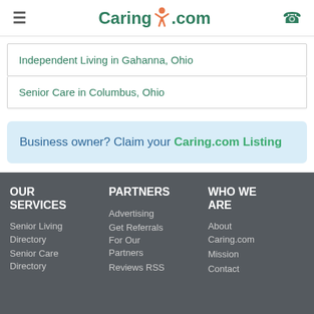Caring.com
Independent Living in Gahanna, Ohio
Senior Care in Columbus, Ohio
Business owner? Claim your Caring.com Listing
OUR SERVICES | PARTNERS | WHO WE ARE | Advertising | Get Referrals For Our Partners | Reviews RSS | Senior Living Directory | Senior Care Directory | About Caring.com | Mission | Contact